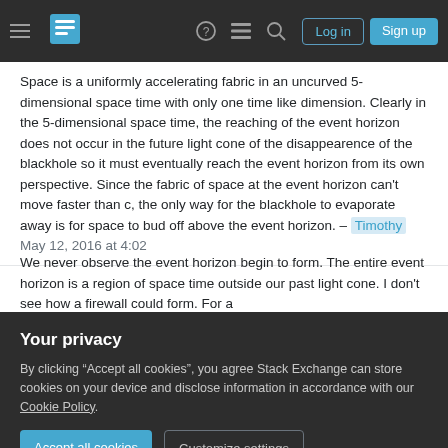Stack Exchange navigation bar with hamburger menu, logo, help, chat, search icons, Log in and Sign up buttons
Space is a uniformly accelerating fabric in an uncurved 5-dimensional space time with only one time like dimension. Clearly in the 5-dimensional space time, the reaching of the event horizon does not occur in the future light cone of the disappearence of the blackhole so it must eventually reach the event horizon from its own perspective. Since the fabric of space at the event horizon can't move faster than c, the only way for the blackhole to evaporate away is for space to bud off above the event horizon. – Timothy May 12, 2016 at 4:02
We never observe the event horizon begin to form. The entire event horizon is a region of space time outside our past light cone. I don't see how a firewall could form. For a
Your privacy
By clicking “Accept all cookies”, you agree Stack Exchange can store cookies on your device and disclose information in accordance with our Cookie Policy.
Accept all cookies
Customize settings
understanding your argument but I think the idea behind